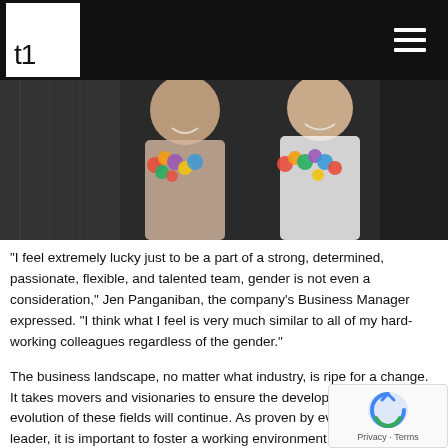t1 logo and navigation
[Figure (photo): Two women smiling, wearing colorful flower leis at what appears to be a social or cultural event, photographed indoors with a dark background.]
“I feel extremely lucky just to be a part of a strong, determined, passionate, flexible, and talented team, gender is not even a consideration,” Jen Panganiban, the company’s Business Manager expressed. “I think what I feel is very much similar to all of my hard-working colleagues regardless of the gender.”
The business landscape, no matter what industry, is ripe for a change. It takes movers and visionaries to ensure the development and evolution of these fields will continue. As proven by every successful leader, it is important to foster a working environment that allows for equality and celebrates comp beyond the discussion of gender.